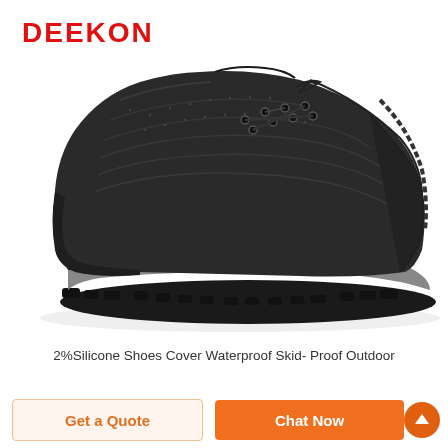[Figure (photo): Black leather safety shoe with laces, thick grey and black sole, low-cut work boot style, photographed against white background. DEEKON logo in red text top-left.]
2%Silicone Shoes Cover Waterproof Skid- Proof Outdoor
Get a Quote
Chat Now